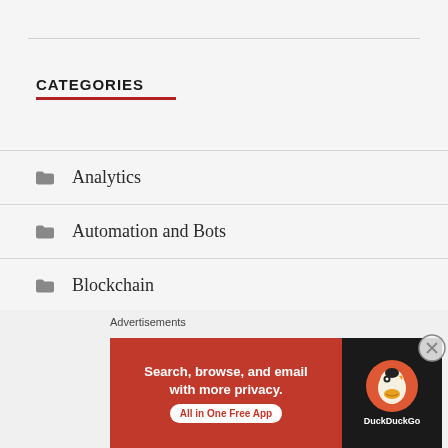CATEGORIES
Analytics
Automation and Bots
Blockchain
Careers in Data
cyber security
[Figure (other): Advertisement banner: DuckDuckGo ad with text 'Search, browse, and email with more privacy. All in One Free App' on orange/red background with DuckDuckGo logo on dark background]